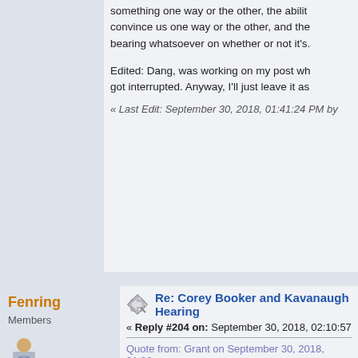something one way or the other, the ability to convince us one way or the other, and the bearing whatsoever on whether or not it's.
Edited: Dang, was working on my post wh got interrupted. Anyway, I'll just leave it as
« Last Edit: September 30, 2018, 01:41:24 PM by
Fenring
Members
Re: Corey Booker and Kavanaugh Hearing
« Reply #204 on: September 30, 2018, 02:10:57
Quote from: Grant on September 30, 2018, 01:06
From what I can gather, they are from 70% to 90 end, such a result would demand follow up inves
I dunno. I've read things from experts that they cannot yield good information, it's that is faulty. They may be a good way to extra next, but I would never feel comfortable w against them as coming from a polygraph as a 1/7 in points supporting Ford's story, this because I don't believe her, but just o discontinued altogether in law enforcemen